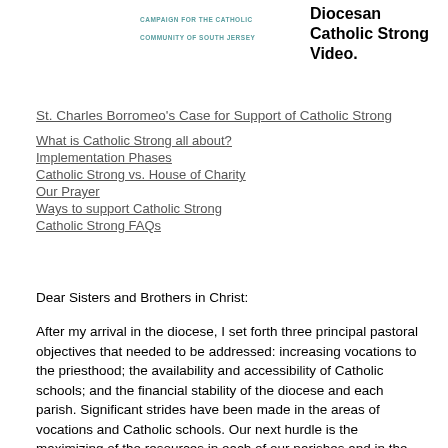[Figure (logo): Campaign for the Catholic Community of South Jersey logo text]
Diocesan Catholic Strong Video.
St. Charles Borromeo's Case for Support of Catholic Strong
What is Catholic Strong all about?
Implementation Phases
Catholic Strong vs. House of Charity
Our Prayer
Ways to support Catholic Strong
Catholic Strong FAQs
Dear Sisters and Brothers in Christ:
After my arrival in the diocese, I set forth three principal pastoral objectives that needed to be addressed: increasing vocations to the priesthood; the availability and accessibility of Catholic schools; and the financial stability of the diocese and each parish. Significant strides have been made in the areas of vocations and Catholic schools. Our next hurdle is the maximizing of the resources in each of our parishes and in the diocese to meet the growing challenges